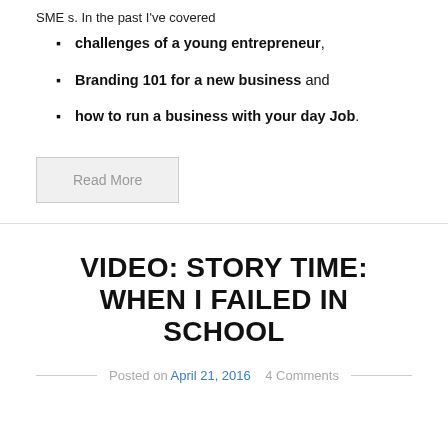SME s. In the past I've covered
challenges of a young entrepreneur,
Branding 101 for a new business and
how to run a business with your day Job.
Read More
VIDEO: STORY TIME: WHEN I FAILED IN SCHOOL
Posted on April 21, 2016  4 Comments